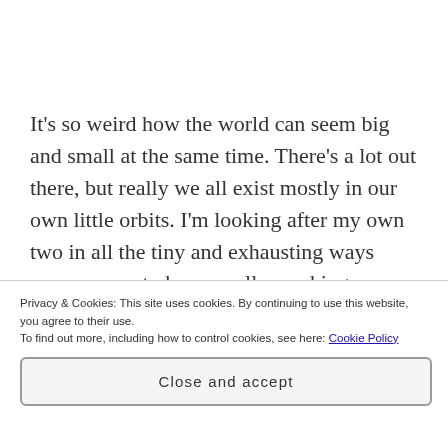It's so weird how the world can seem big and small at the same time. There's a lot out there, but really we all exist mostly in our own little orbits. I'm looking after my own two in all the tiny and exhausting ways moms come to know well – packing lunches, waking them from sleep, listening to stories about teachers and friends. baths. bedtime reading.
Privacy & Cookies: This site uses cookies. By continuing to use this website, you agree to their use. To find out more, including how to control cookies, see here: Cookie Policy
Close and accept